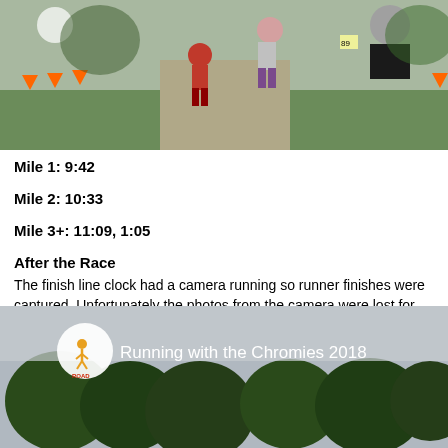[Figure (photo): Race photo showing runners on a path with orange cones, wearing red shirts, at an outdoor running event.]
Mile 1: 9:42
Mile 2: 10:33
Mile 3+: 11:09, 1:05
After the Race
The finish line clock had a camera running so runner finishes were captured. Unfortunately the photos from the camera were lost for some of the runners, including me.
[Figure (screenshot): YouTube video thumbnail showing 'Running with the Chromies 2018' with a Road Runner logo, trees and sky visible in background.]